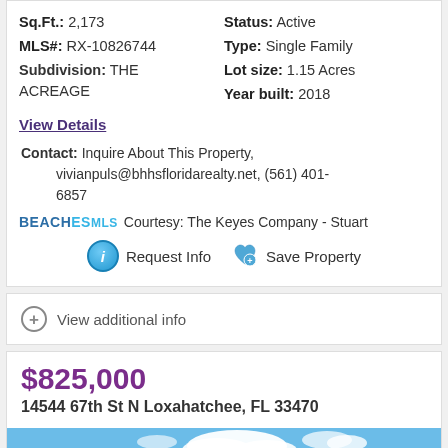Sq.Ft.: 2,173 | Status: Active | MLS#: RX-10826744 | Type: Single Family | Subdivision: THE ACREAGE | Lot size: 1.15 Acres | Year built: 2018
View Details
Contact: Inquire About This Property, vivianpuls@bhhsfloridarealty.net, (561) 401-6857
BEACHES MLS Courtesy: The Keyes Company - Stuart
Request Info   Save Property
View additional info
$825,000
14544 67th St N Loxahatchee, FL 33470
[Figure (photo): Exterior photo of property showing blue sky with clouds and trees]